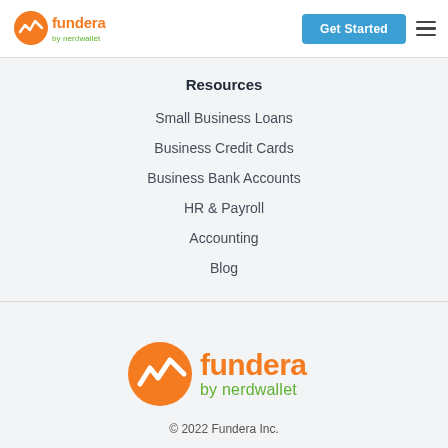Fundera by nerdwallet — Get Started
Resources
Small Business Loans
Business Credit Cards
Business Bank Accounts
HR & Payroll
Accounting
Blog
[Figure (logo): Fundera by nerdwallet logo — orange circle with white wave/chart icon, orange 'fundera' text, green 'by nerdwallet' text]
© 2022 Fundera Inc.